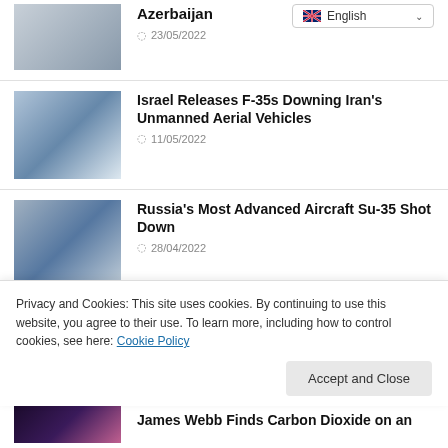[Figure (photo): Partial aircraft/military image at top left]
Azerbaijan
23/05/2022
[Figure (screenshot): English language selector dropdown]
[Figure (photo): F-35 fighter jet in flight]
Israel Releases F-35s Downing Iran's Unmanned Aerial Vehicles
11/05/2022
[Figure (photo): Su-35 aircraft in flight]
Russia's Most Advanced Aircraft Su-35 Shot Down
28/04/2022
[Figure (photo): Navy drone/laser test scene]
US Navy Conducts Drone Drop Test with High-Energy Laser
Privacy and Cookies: This site uses cookies. By continuing to use this website, you agree to their use. To learn more, including how to control cookies, see here: Cookie Policy
Accept and Close
[Figure (photo): Space/nebula image for James Webb article]
James Webb Finds Carbon Dioxide on an